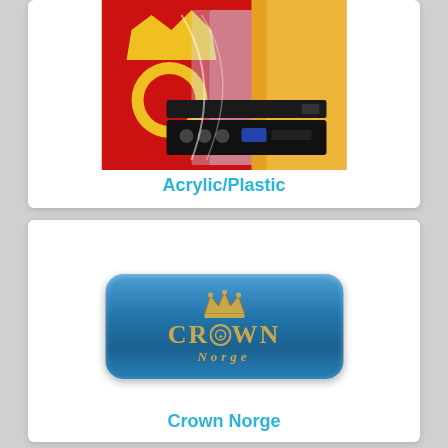[Figure (photo): Photo of acrylic/plastic display materials including colored panels and electronic devices]
Acrylic/Plastic
[Figure (logo): Crown Norge logo on a blue rounded rectangle badge with gold text and crown symbol]
Crown Norge